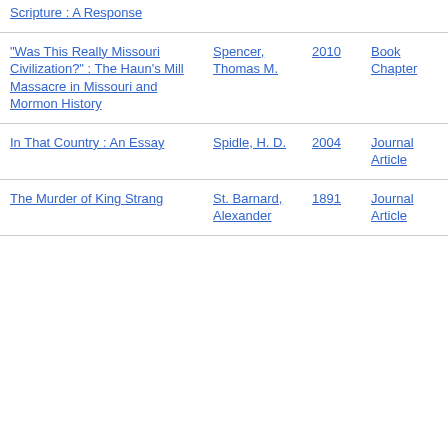Scripture : A Response
"Was This Really Missouri Civilization?" : The Haun's Mill Massacre in Missouri and Mormon History | Spencer, Thomas M. | 2010 | Book Chapter
In That Country : An Essay | Spidle, H. D. | 2004 | Journal Article
The Murder of King Strang | St. Barnard, Alexander | 1891 | Journal Article